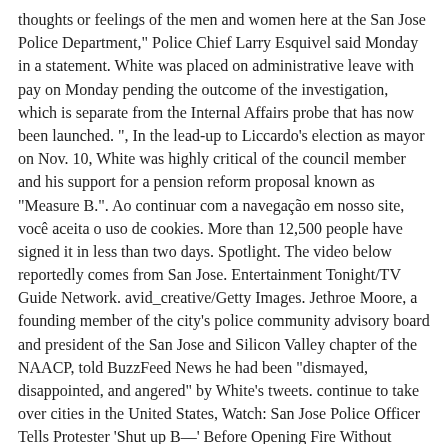thoughts or feelings of the men and women here at the San Jose Police Department," Police Chief Larry Esquivel said Monday in a statement. White was placed on administrative leave with pay on Monday pending the outcome of the investigation, which is separate from the Internal Affairs probe that has now been launched. ", In the lead-up to Liccardo's election as mayor on Nov. 10, White was highly critical of the council member and his support for a pension reform proposal known as "Measure B.". Ao continuar com a navegação em nosso site, você aceita o uso de cookies. More than 12,500 people have signed it in less than two days. Spotlight. The video below reportedly comes from San Jose. Entertainment Tonight/TV Guide Network. avid_creative/Getty Images. Jethroe Moore, a founding member of the city's police community advisory board and president of the San Jose and Silicon Valley chapter of the NAACP, told BuzzFeed News he had been "dismayed, disappointed, and angered" by White's tweets. continue to take over cities in the United States, Watch: San Jose Police Officer Tells Protester 'Shut up B—' Before Opening Fire Without Provocation, Stimulus Checks: Rand Paul Backs Down on Shutdown Threat as Congress Remains Stalled on COVID-19 Aid, Donald Trump Moved $2.7 Million of Campaign Donations Into His Business Before Election Day, 'Cheer' Star Jerry Harris Facing New Child Pornography Charges, Rush Limbaugh Says US Is 'Trending Toward Secession', Supreme Court Rejects Texas Lawsuit Seeking to Overturn Joe Biden's Election Victory Over